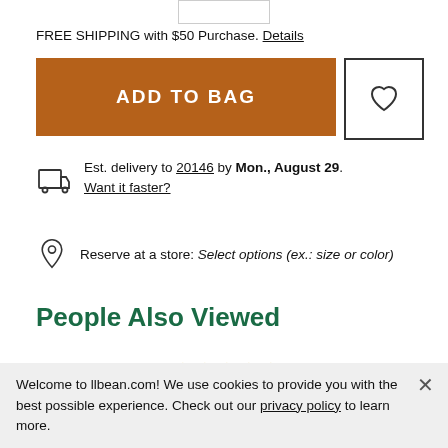FREE SHIPPING with $50 Purchase. Details
ADD TO BAG
Est. delivery to 20146 by Mon., August 29. Want it faster?
Reserve at a store: Select options (ex.: size or color)
People Also Viewed
★★★★½ 276 Women's Stretch Ripstop Pull-On
Welcome to llbean.com! We use cookies to provide you with the best possible experience. Check out our privacy policy to learn more.